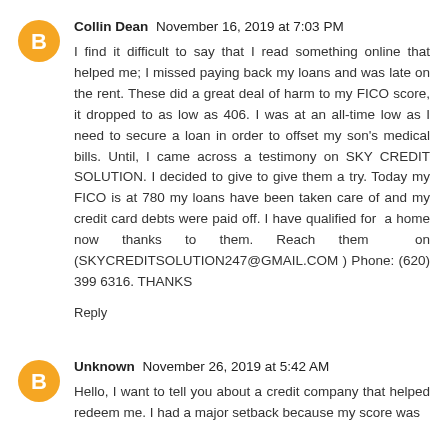Collin Dean November 16, 2019 at 7:03 PM
I find it difficult to say that I read something online that helped me; I missed paying back my loans and was late on the rent. These did a great deal of harm to my FICO score, it dropped to as low as 406. I was at an all-time low as I need to secure a loan in order to offset my son's medical bills. Until, I came across a testimony on SKY CREDIT SOLUTION. I decided to give to give them a try. Today my FICO is at 780 my loans have been taken care of and my credit card debts were paid off. I have qualified for a home now thanks to them. Reach them on (SKYCREDITSOLUTION247@GMAIL.COM ) Phone: (620) 399 6316. THANKS
Reply
Unknown November 26, 2019 at 5:42 AM
Hello, I want to tell you about a credit company that helped redeem me. I had a major setback because my score was